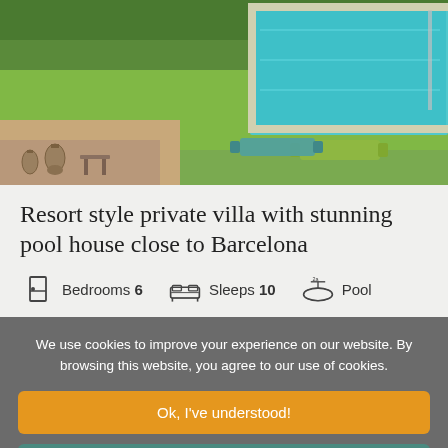[Figure (photo): Outdoor photo of a resort-style villa showing a swimming pool with turquoise water, green lawn, lounge chairs, and decorative lanterns]
Resort style private villa with stunning pool house close to Barcelona
Bedrooms 6   Sleeps 10   Pool
We use cookies to improve your experience on our website. By browsing this website, you agree to our use of cookies.
Ok, I've understood!
Decline
Settings
More Info